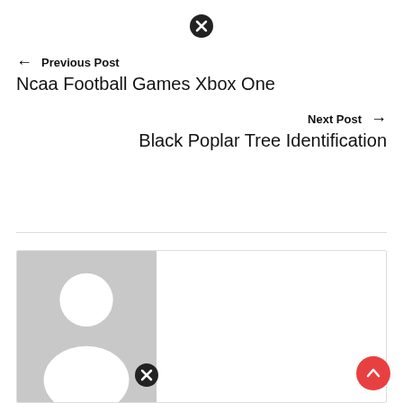[Figure (other): Close/cancel icon at top center of page]
← Previous Post
Ncaa Football Games Xbox One
Next Post →
Black Poplar Tree Identification
[Figure (photo): Author avatar placeholder with gray background and white person silhouette]
[Figure (other): Close/cancel icon near author image]
[Figure (other): Scroll-to-top red circular button with up arrow]